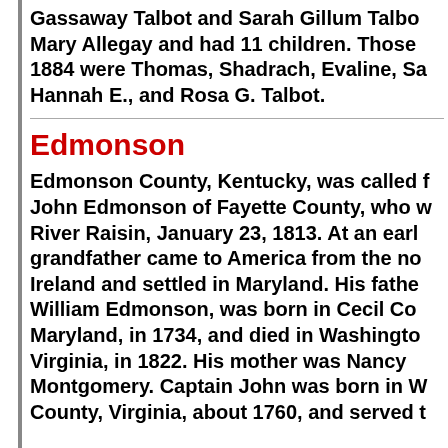Gassaway Talbot and Sarah Gillum Talbot, Mary Allegay and had 11 children. Those 1884 were Thomas, Shadrach, Evaline, Sa Hannah E., and Rosa G. Talbot.
Edmonson
Edmonson County, Kentucky, was called f John Edmonson of Fayette County, who w River Raisin, January 23, 1813. At an earl grandfather came to America from the no Ireland and settled in Maryland. His fathe William Edmonson, was born in Cecil Co Maryland, in 1734, and died in Washingto Virginia, in 1822. His mother was Nancy Montgomery. Captain John was born in W County, Virginia, about 1760, and served t